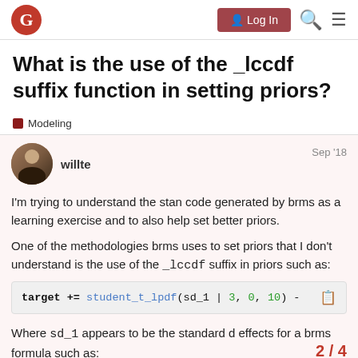Navigation bar with Discourse logo, Log In button, search icon, menu icon
What is the use of the _lccdf suffix function in setting priors?
Modeling
willte  Sep '18
I'm trying to understand the stan code generated by brms as a learning exercise and to also help set better priors.
One of the methodologies brms uses to set priors that I don't understand is the use of the _lccdf suffix in priors such as:
target += student_t_lpdf(sd_1 | 3, 0, 10) -
Where sd_1 appears to be the standard d effects for a brms formula such as:
2 / 4